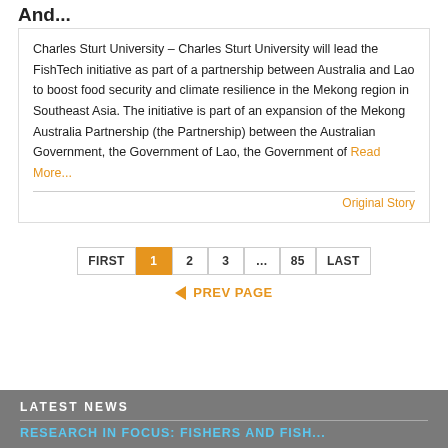And...
Charles Sturt University – Charles Sturt University will lead the FishTech initiative as part of a partnership between Australia and Lao to boost food security and climate resilience in the Mekong region in Southeast Asia. The initiative is part of an expansion of the Mekong Australia Partnership (the Partnership) between the Australian Government, the Government of Lao, the Government of Read More...
Original Story
FIRST 1 2 3 ... 85 LAST
◄ PREV PAGE
LATEST NEWS
RESEARCH IN FOCUS: FISHERS AND FISH...